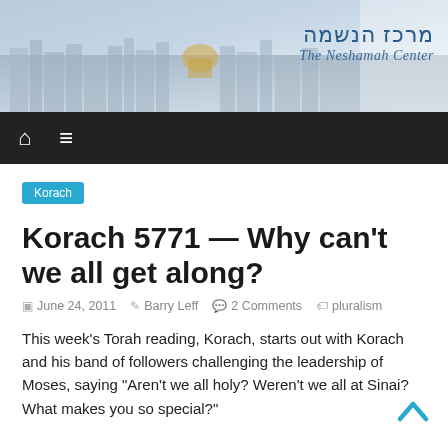[Figure (photo): Website header banner showing Jerusalem cityscape with The Neshamah Center logo in Hebrew and English on the right side]
The Neshamah Center
Korach
Korach 5771 — Why can't we all get along?
June 24, 2011   Barry Leff   2 Comments   pluralism
This week's Torah reading, Korach, starts out with Korach and his band of followers challenging the leadership of Moses, saying "Aren't we all holy?  Weren't we all at Sinai? What makes you so special?"